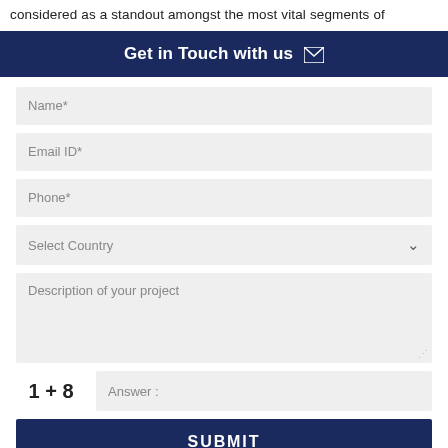considered as a standout amongst the most vital segments of
Get in Touch with us ✉
[Figure (screenshot): Web contact form with fields: Name*, Email ID*, Phone*, Select Country dropdown, Description of your project textarea, a CAPTCHA math puzzle (1 + 8, Answer:), and a SUBMIT button.]